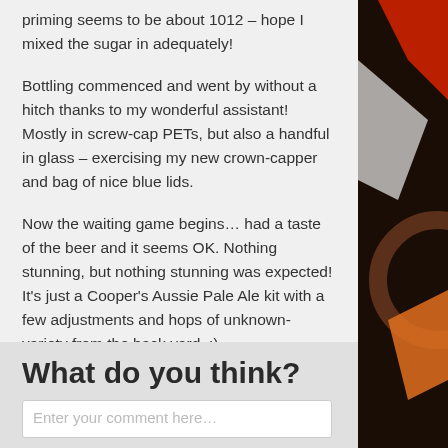priming seems to be about 1012 – hope I mixed the sugar in adequately!
Bottling commenced and went by without a hitch thanks to my wonderful assistant! Mostly in screw-cap PETs, but also a handful in glass – exercising my new crown-capper and bag of nice blue lids.
Now the waiting game begins… had a taste of the beer and it seems OK. Nothing stunning, but nothing stunning was expected! It's just a Cooper's Aussie Pale Ale kit with a few adjustments and hops of unknown-variety from the back yard. :)
Reply ↓
What do you think?
Enter your comment here…